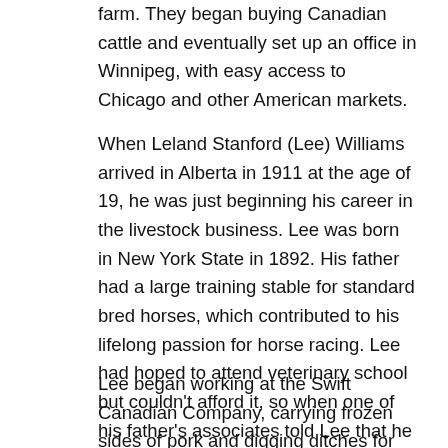farm. They began buying Canadian cattle and eventually set up an office in Winnipeg, with easy access to Chicago and other American markets.
When Leland Stanford (Lee) Williams arrived in Alberta in 1911 at the age of 19, he was just beginning his career in the livestock business. Lee was born in New York State in 1892. His father had a large training stable for standard bred horses, which contributed to his lifelong passion for horse racing. Lee had hoped to attend veterinary school but couldn't afford it, so when one of his father's associates told Lee that he could get him a job in Edmonton, he jumped at the opportunity.
Lee began working at the Swift Canadian Company, carrying frozen sides of pork and digging ditches for 20 cents an hour. He wrote home to his mother after only a month on the job: